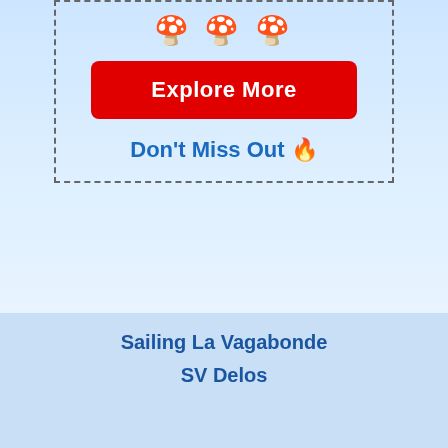[Figure (other): Three golden mushroom/pinecone emoji icons in a row]
Explore More
Don't Miss Out 🔥
Sailing La Vagabonde
SV Delos
X